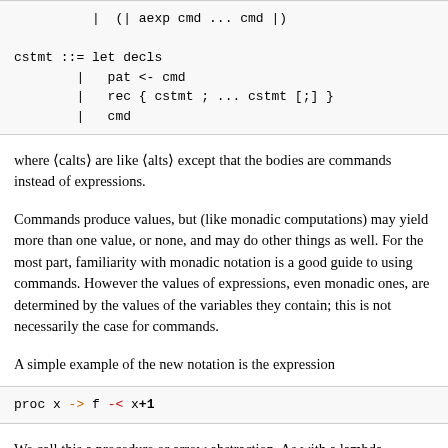| (| aexp cmd ... cmd |)
cstmt ::= let decls
        | pat <- cmd
        | rec { cstmt ; ... cstmt [;] }
        | cmd
where (calts) are like (alts) except that the bodies are commands instead of expressions.
Commands produce values, but (like monadic computations) may yield more than one value, or none, and may do other things as well. For the most part, familiarity with monadic notation is a good guide to using commands. However the values of expressions, even monadic ones, are determined by the values of the variables they contain; this is not necessarily the case for commands.
A simple example of the new notation is the expression
proc x -> f -< x+1
We call this a procedure or arrow abstraction. As with a lambda expression, the variable x is a new variable bound within the proc-expression. It refers to the input to the arrow. In the above example